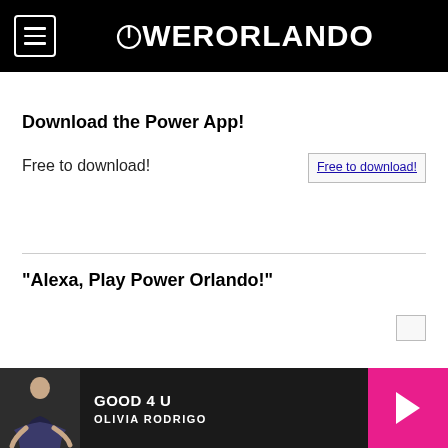POWERORLANDO
Download the Power App!
Free to download!
[Figure (other): Broken image placeholder with alt text 'Free to download!']
"Alexa, Play Power Orlando!"
GOOD 4 U
OLIVIA RODRIGO